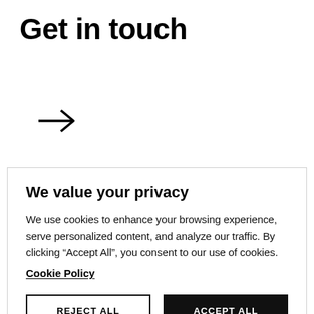Get in touch
[Figure (illustration): A right-pointing arrow symbol]
We value your privacy
We use cookies to enhance your browsing experience, serve personalized content, and analyze our traffic. By clicking “Accept All”, you consent to our use of cookies.
Cookie Policy
REJECT ALL
ACCEPT ALL